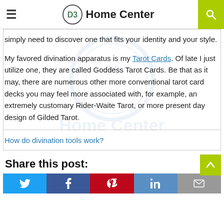D3 Home Center
simply need to discover one that fits your identity and your style.
My favored divination apparatus is my Tarot Cards. Of late I just utilize one, they are called Goddess Tarot Cards. Be that as it may, there are numerous other more conventional tarot card decks you may feel more associated with, for example, an extremely customary Rider-Waite Tarot, or more present day design of Gilded Tarot.
How do divination tools work?
Share this post: